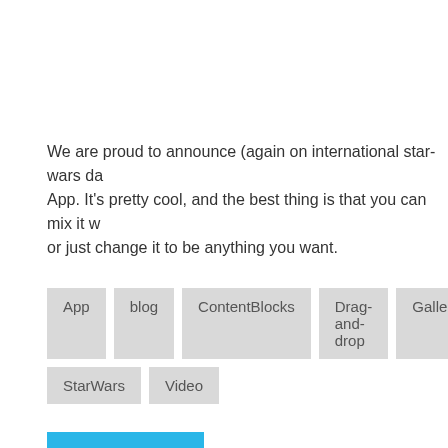We are proud to announce (again on international star-wars da App. It's pretty cool, and the best thing is that you can mix it w or just change it to be anything you want.
App
blog
ContentBlocks
Drag-and-drop
Gallery
StarWars
Video
Read more ...